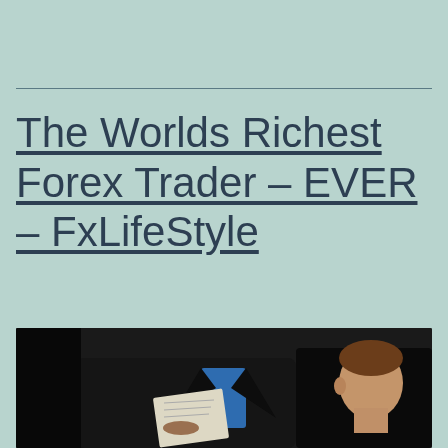The Worlds Richest Forex Trader – EVER – FxLifeStyle
[Figure (photo): A person in a dark suit with blue shirt, partial view cropped at bottom of page, likely a businessman or forex trader]